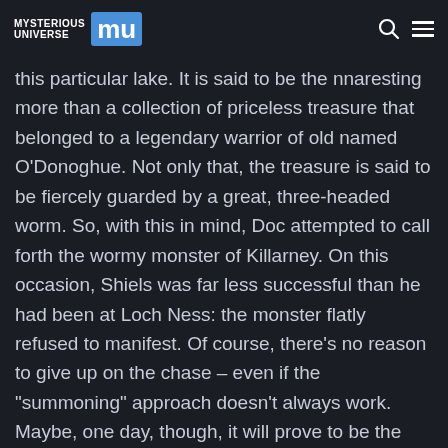MYSTERIOUS UNIVERSE MU
this particular lake. It is said to be the harbouring more than a collection of priceless treasure that belonged to a legendary warrior of old named O'Donoghue. Not only that, the treasure is said to be fiercely guarded by a great, three-headed worm. So, with this in mind, Doc attempted to call forth the wormy monster of Killarney. On this occasion, Shiels was far less successful than he had been at Loch Ness: the monster flatly refused to manifest. Of course, there's no reason to give up on the chase – even if the "summoning" approach doesn't always work. Maybe, one day, though, it will prove to be the angle that solves it all.